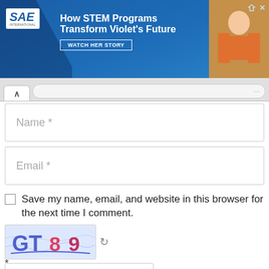[Figure (screenshot): SAE advertisement banner with text 'How STEM Programs Transform Violet's Future' and a 'WATCH HER STORY' button, with a photo of a child on the right side]
Name *
Email *
Save my name, email, and website in this browser for the next time I comment.
[Figure (screenshot): CAPTCHA image showing distorted text 'GT89' with a refresh icon]
CAPTCHA Code
*